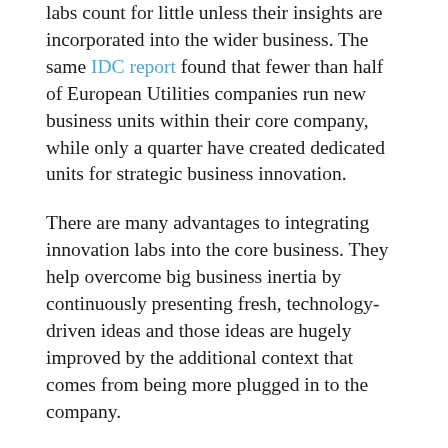labs count for little unless their insights are incorporated into the wider business. The same IDC report found that fewer than half of European Utilities companies run new business units within their core company, while only a quarter have created dedicated units for strategic business innovation.
There are many advantages to integrating innovation labs into the core business. They help overcome big business inertia by continuously presenting fresh, technology-driven ideas and those ideas are hugely improved by the additional context that comes from being more plugged in to the company.
Of course, integrating forward-looking business units into the wider company is easier said than done. At the outset it's important to define what the business wants to gain from an innovation lab, the products,